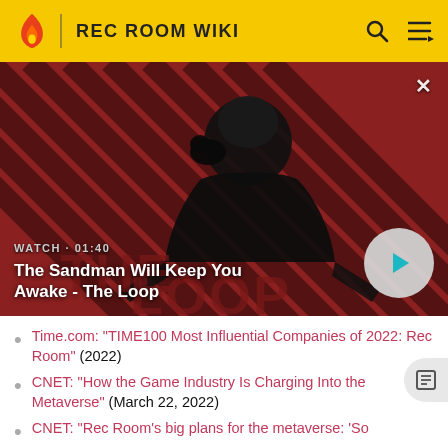REC ROOM WIKI
[Figure (screenshot): Video thumbnail showing a dark-robed figure with a raven on their shoulder against a red-and-black diagonal stripe background. Text overlay reads: WATCH • 01:40 / The Sandman Will Keep You Awake - The Loop]
The Sandman Will Keep You Awake - The Loop
Time.com: "TIME100 Most Influential Companies of 2022: Rec Room" (2022)
CNET: "How the Game Industry Is Charging Into the Metaverse" (March 22, 2022)
CNET: "Rec Room's big plans for the metaverse: 'So